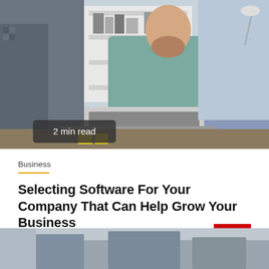[Figure (photo): Two office workers — a bearded man in a teal shirt and a woman with glasses in a blue shirt — looking at and working on a laptop in an office setting with shelves in the background. A '2 min read' badge appears in the lower left corner of the image.]
Business
Selecting Software For Your Company That Can Help Grow Your Business
2 months ago   Lia Colt
[Figure (photo): Partial view of a second article image — appears to be a dark/moody office or business scene, visible only at the very bottom of the page.]